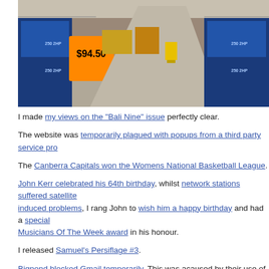[Figure (photo): Interior of a large warehouse/hardware store showing aisles of boxed products including items priced at $94.50, with orange price tags and blue product boxes stacked on pallets.]
I made my views on the "Bali Nine" issue perfectly clear.
The website was temporarily plagued with popups from a third party service pro...
The Canberra Capitals won the Womens National Basketball League.
John Kerr celebrated his 64th birthday, whilst network stations suffered satellite induced problems, I rang John to wish him a happy birthday and had a special Musicians Of The Week award in his honour.
I released Samuel's Persiflage #3.
Bigpond blocked Gmail temporarily. This was acaused by their use of seriously...